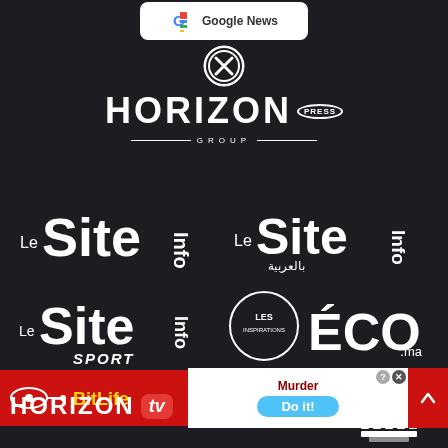[Figure (logo): Google News logo banner at top center]
[Figure (logo): Close/X button circle icon]
[Figure (logo): HORIZON PRESS GROUP logo in white text on dark background]
[Figure (logo): Le Site Info logo (French version) - white text on dark]
[Figure (logo): Le Site Info logo with Arabic text (بالعربية) - white on dark]
[Figure (logo): Le Site Info Sport logo - white on dark]
[Figure (logo): Les Inspirations ECO.ma logo - white on dark]
[Figure (logo): BitLife advertisement banner - red background]
[Figure (logo): Murder Do it! game advertisement]
[Figure (logo): Horizon TV logo at bottom]
[Figure (logo): Arabic media logo at bottom right]